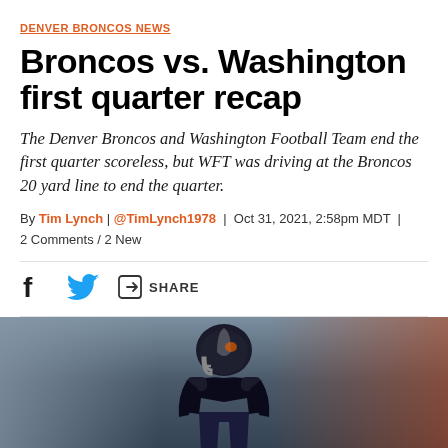DENVER BRONCOS NEWS
Broncos vs. Washington first quarter recap
The Denver Broncos and Washington Football Team end the first quarter scoreless, but WFT was driving at the Broncos 20 yard line to end the quarter.
By Tim Lynch | @TimLynch1978 | Oct 31, 2021, 2:58pm MDT | 2 Comments / 2 New
[Figure (photo): Football player in dark helmet and uniform on field with crowd in background]